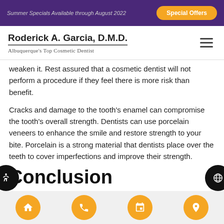Summer Specials Available through August 2022 | Special Offers
Roderick A. Garcia, D.M.D. — Albuquerque's Top Cosmetic Dentist
weaken it. Rest assured that a cosmetic dentist will not perform a procedure if they feel there is more risk than benefit.
Cracks and damage to the tooth's enamel can compromise the tooth's overall strength. Dentists can use porcelain veneers to enhance the smile and restore strength to your bite. Porcelain is a strong material that dentists place over the teeth to cover imperfections and improve their strength.
Conclusion